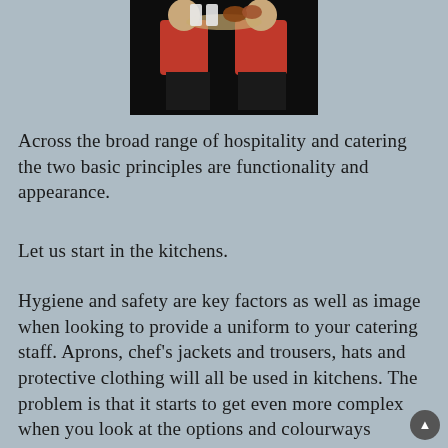[Figure (photo): Two staff members in red shirts holding trays with food and drinks against a dark background]
Across the broad range of hospitality and catering the two basic principles are functionality and appearance.
Let us start in the kitchens.
Hygiene and safety are key factors as well as image when looking to provide a uniform to your catering staff. Aprons, chef's jackets and trousers, hats and protective clothing will all be used in kitchens. The problem is that it starts to get even more complex when you look at the options and colourways available.